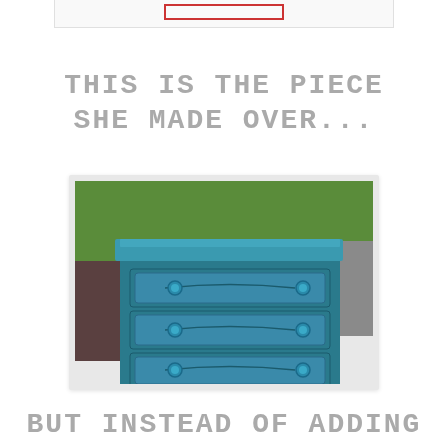[Figure (other): Top card with red rectangle border element, partially visible at top of page]
THIS IS THE PIECE SHE MADE OVER...
[Figure (photo): Photo of an old blue/teal painted three-drawer dresser sitting on a white surface outdoors, with green grass and pavement visible in the background]
BUT INSTEAD OF ADDING